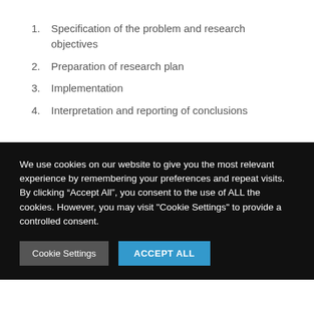1. Specification of the problem and research objectives
2. Preparation of research plan
3. Implementation
4. Interpretation and reporting of conclusions
We use cookies on our website to give you the most relevant experience by remembering your preferences and repeat visits. By clicking “Accept All”, you consent to the use of ALL the cookies. However, you may visit "Cookie Settings" to provide a controlled consent.
Cookie Settings | ACCEPT ALL